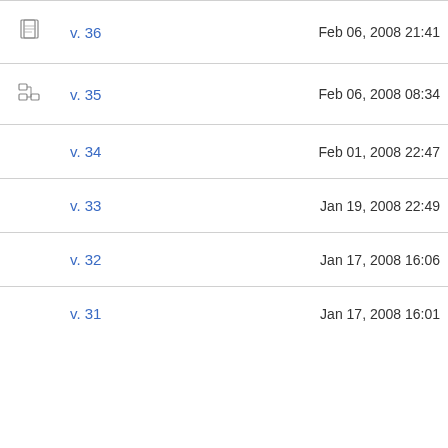v. 36   Feb 06, 2008 21:41
v. 35   Feb 06, 2008 08:34
v. 34   Feb 01, 2008 22:47
v. 33   Jan 19, 2008 22:49
v. 32   Jan 17, 2008 16:06
v. 31   Jan 17, 2008 16:01